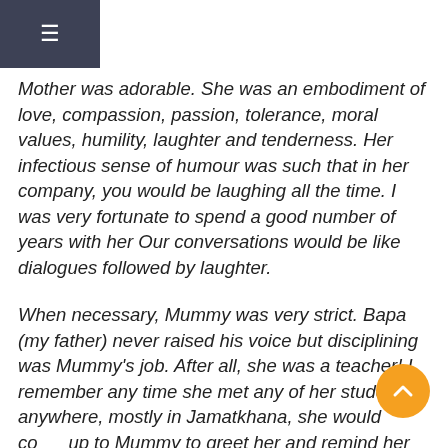Mother was adorable. She was an embodiment of love, compassion, passion, tolerance, moral values, humility, laughter and tenderness. Her infectious sense of humour was such that in her company, you would be laughing all the time. I was very fortunate to spend a good number of years with her Our conversations would be like dialogues followed by laughter.
When necessary, Mummy was very strict. Bapa (my father) never raised his voice but disciplining was Mummy's job. After all, she was a teacher! I remember any time she met any of her students anywhere, mostly in Jamatkhana, she would come up to Mummy to greet her and remind her of having taught her. If the student had her child/children with her, she would introduce Mummy as her teacher and also add "she was very strict" and Mummy